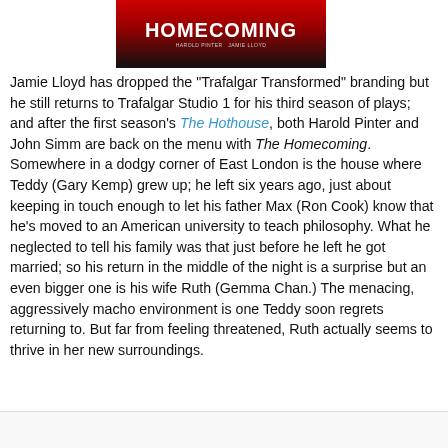[Figure (photo): Promotional image for The Homecoming play directed by Harold Pinter and Jamie Lloyd, with red and black branding.]
Jamie Lloyd has dropped the "Trafalgar Transformed" branding but he still returns to Trafalgar Studio 1 for his third season of plays; and after the first season's The Hothouse, both Harold Pinter and John Simm are back on the menu with The Homecoming. Somewhere in a dodgy corner of East London is the house where Teddy (Gary Kemp) grew up; he left six years ago, just about keeping in touch enough to let his father Max (Ron Cook) know that he's moved to an American university to teach philosophy. What he neglected to tell his family was that just before he left he got married; so his return in the middle of the night is a surprise but an even bigger one is his wife Ruth (Gemma Chan.) The menacing, aggressively macho environment is one Teddy soon regrets returning to. But far from feeling threatened, Ruth actually seems to thrive in her new surroundings.